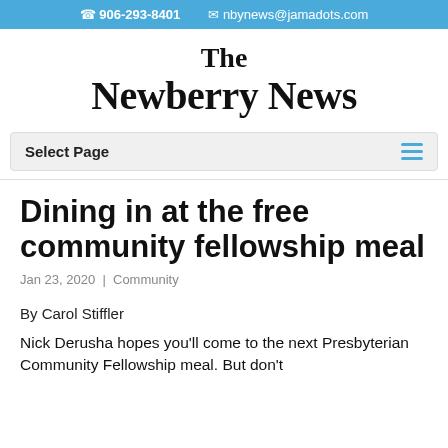906-293-8401  nbynews@jamadots.com
[Figure (logo): The Newberry News newspaper logo in serif bold text]
Select Page
Dining in at the free community fellowship meal
Jan 23, 2020 | Community
By Carol Stiffler
Nick Derusha hopes you'll come to the next Presbyterian Community Fellowship meal. But don't